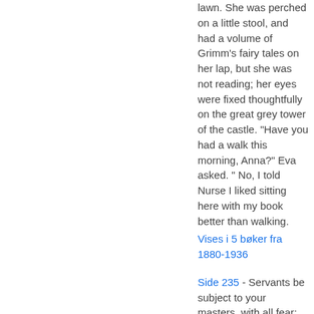lawn. She was perched on a little stool, and had a volume of Grimm's fairy tales on her lap, but she was not reading; her eyes were fixed thoughtfully on the great grey tower of the castle. "Have you had a walk this morning, Anna?" Eva asked. " No, I told Nurse I liked sitting here with my book better than walking.
Vises i 5 bøker fra 1880-1936
Side 235 - Servants be subject to your masters, with all fear; not only the good and gentle, but also the froward. For this is thank worthy, if a man for